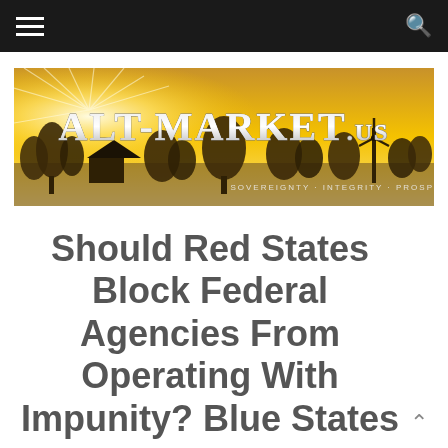Navigation bar with hamburger menu and search icon
[Figure (logo): Alt-Market.us banner logo with golden sunset background, silhouette of rural landscape with trees and windmill, text reads ALT-MARKET.US with tagline SOVEREIGNTY · INTEGRITY · PROSPERITY]
Should Red States Block Federal Agencies From Operating With Impunity? Blue States